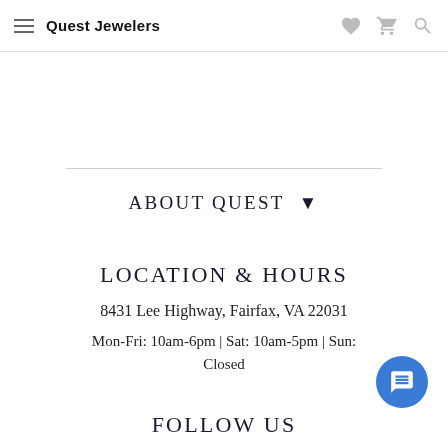Quest Jewelers
ABOUT QUEST
LOCATION & HOURS
8431 Lee Highway, Fairfax, VA 22031
Mon-Fri: 10am-6pm | Sat: 10am-5pm | Sun: Closed
FOLLOW US